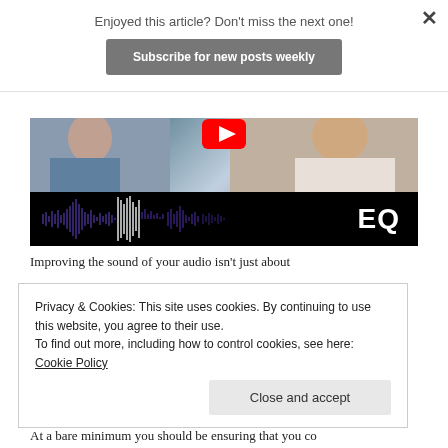Enjoyed this article? Don't miss the next one!
Subscribe for new posts weekly
[Figure (screenshot): YouTube video thumbnail showing two people and an audio EQ waveform with text 'EQ' on black background and YouTube play button overlay]
Improving the sound of your audio isn't just about
Privacy & Cookies: This site uses cookies. By continuing to use this website, you agree to their use.
To find out more, including how to control cookies, see here: Cookie Policy
Close and accept
At a bare minimum you should be ensuring that you co